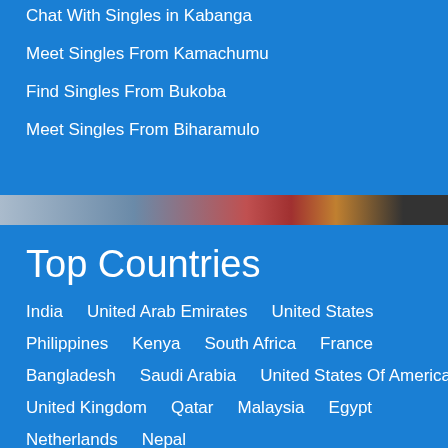Chat With Singles in Kabanga
Meet Singles From Kamachumu
Find Singles From Bukoba
Meet Singles From Biharamulo
[Figure (photo): Photo strip of people]
Top Countries
India    United Arab Emirates    United States
Philippines    Kenya    South Africa    France
Bangladesh    Saudi Arabia    United States Of America
United Kingdom    Qatar    Malaysia    Egypt
Netherlands    Nepal